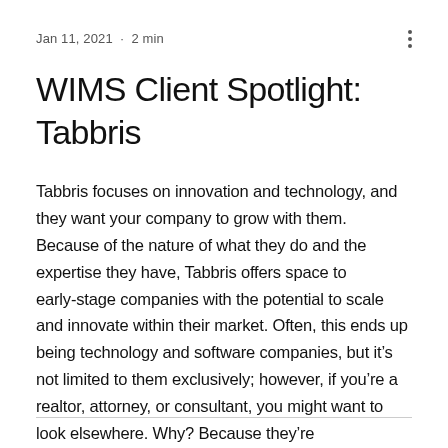Jan 11, 2021 · 2 min
WIMS Client Spotlight: Tabbris
Tabbris focuses on innovation and technology, and they want your company to grow with them. Because of the nature of what they do and the expertise they have, Tabbris offers space to early-stage companies with the potential to scale and innovate within their market. Often, this ends up being technology and software companies, but it's not limited to them exclusively; however, if you're a realtor, attorney, or consultant, you might want to look elsewhere. Why? Because they're